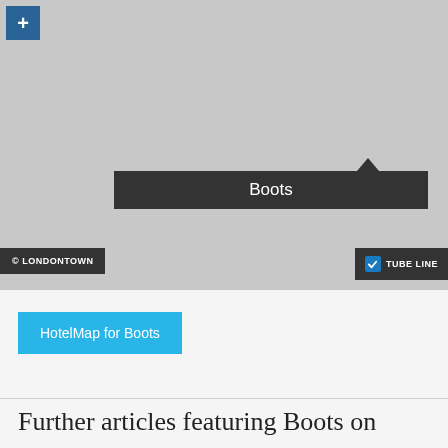[Figure (map): A grey map showing a tooltip/popup label for 'Boots' location marker, with a dark tooltip balloon reading 'Boots'. Map has a zoom-in button (+) in the top-left corner, a '© LONDONTOWN' watermark on the bottom-left, and a 'TUBE LINE' toggle checkbox on the bottom-right.]
HotelMap for Boots
Further articles featuring Boots on